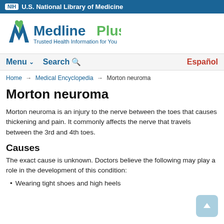NIH U.S. National Library of Medicine
[Figure (logo): MedlinePlus logo with text 'Trusted Health Information for You']
Menu  Search  Español
Home → Medical Encyclopedia → Morton neuroma
Morton neuroma
Morton neuroma is an injury to the nerve between the toes that causes thickening and pain. It commonly affects the nerve that travels between the 3rd and 4th toes.
Causes
The exact cause is unknown. Doctors believe the following may play a role in the development of this condition:
Wearing tight shoes and high heels